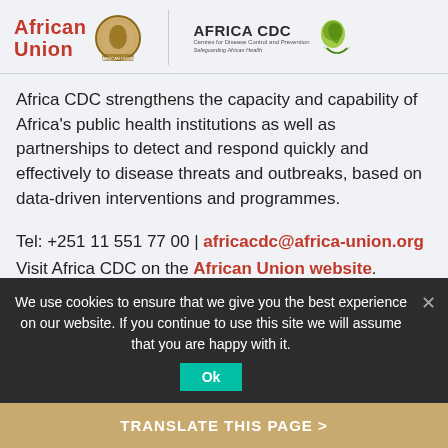[Figure (logo): African Union logo with red text 'African Union' and gold globe/Africa emblem]
[Figure (logo): Africa CDC logo with text 'AFRICA CDC', subtitle 'Centres for Disease Control and Prevention', tagline 'Safeguarding African Health', and leaf/Africa emblem]
Africa CDC strengthens the capacity and capability of Africa's public health institutions as well as partnerships to detect and respond quickly and effectively to disease threats and outbreaks, based on data-driven interventions and programmes.
Tel: +251 11 551 77 00 | africacdc@africa-union.org
Visit Africa CDC on the African Union website.
Regional Centres
We use cookies to ensure that we give you the best experience on our website. If you continue to use this site we will assume that you are happy with it.
TRANSLATE THIS PAGE >